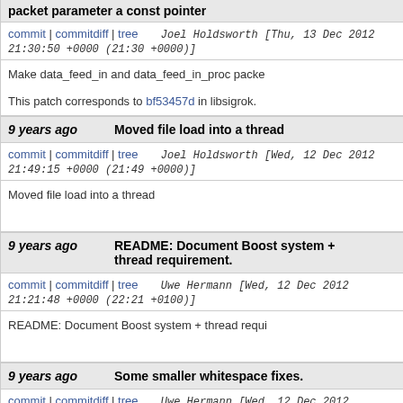packet parameter a const pointer
commit | commitdiff | tree   Joel Holdsworth [Thu, 13 Dec 2012 21:30:50 +0000 (21:30 +0000)]
Make data_feed_in and data_feed_in_proc packet parameter a const pointer

This patch corresponds to bf53457d in libsigrok.
9 years ago   Moved file load into a thread
commit | commitdiff | tree   Joel Holdsworth [Wed, 12 Dec 2012 21:49:15 +0000 (21:49 +0000)]
Moved file load into a thread
9 years ago   README: Document Boost system + thread requirement.
commit | commitdiff | tree   Uwe Hermann [Wed, 12 Dec 2012 21:21:48 +0000 (22:21 +0100)]
README: Document Boost system + thread requirement.
9 years ago   Some smaller whitespace fixes.
commit | commitdiff | tree   Uwe Hermann [Wed, 12 Dec 2012 21:19:22 +0000 (22:19 +0100)]